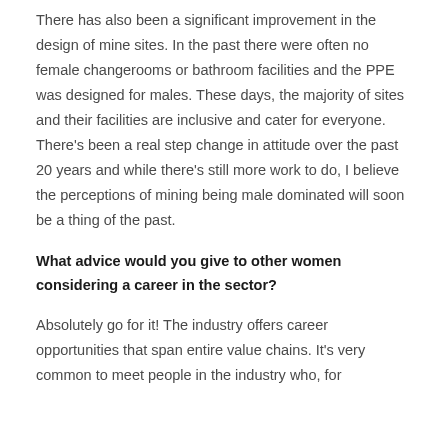There has also been a significant improvement in the design of mine sites. In the past there were often no female changerooms or bathroom facilities and the PPE was designed for males. These days, the majority of sites and their facilities are inclusive and cater for everyone. There's been a real step change in attitude over the past 20 years and while there's still more work to do, I believe the perceptions of mining being male dominated will soon be a thing of the past.
What advice would you give to other women considering a career in the sector?
Absolutely go for it! The industry offers career opportunities that span entire value chains. It's very common to meet people in the industry who, for